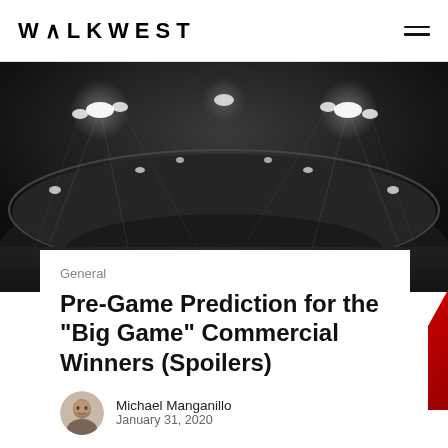WALKWEST
[Figure (photo): Black and white aerial photo of a stadium at night with bright floodlights illuminating the field, seen from above at an angle.]
General
Pre-Game Prediction for the “Big Game” Commercial Winners (Spoilers)
Michael Manganillo
January 31, 2020